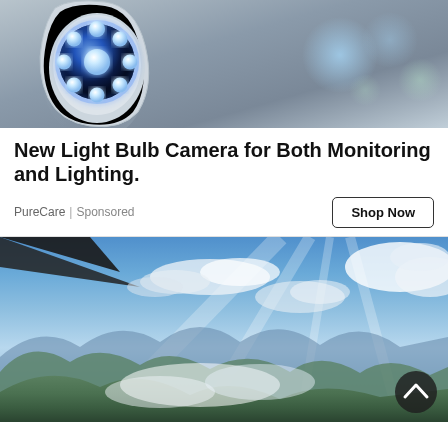[Figure (photo): Close-up photo of a smart light bulb security camera with blue LED ring lights arranged in a circular pattern, on a gray background with bokeh light effects]
New Light Bulb Camera for Both Monitoring and Lighting.
PureCare | Sponsored
[Figure (photo): Aerial photo of mountainous landscape with green hills below and dramatic clouds and blue sky above, with sunlight rays, and a dark scroll-up button in the lower right corner]